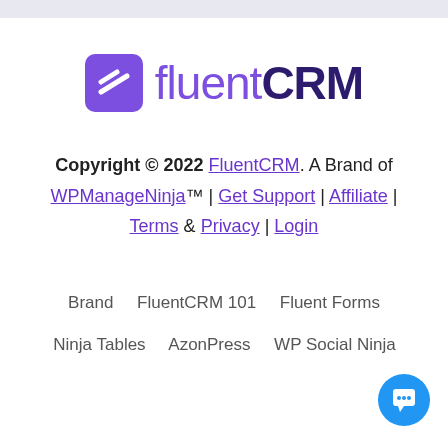[Figure (logo): FluentCRM logo with purple square icon containing two white diagonal stripes and text 'fluentCRM']
Copyright © 2022 FluentCRM. A Brand of WPManageNinja™ | Get Support | Affiliate | Terms & Privacy | Login
Brand    FluentCRM 101    Fluent Forms
Ninja Tables    AzonPress    WP Social Ninja